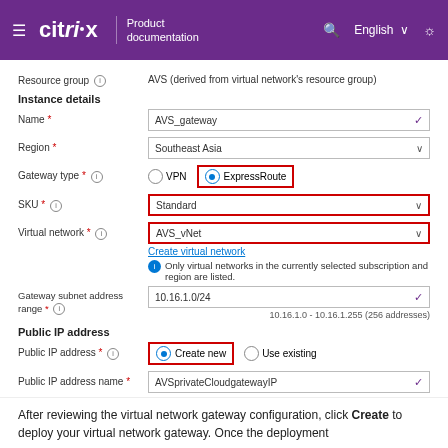Citrix Product documentation — English
[Figure (screenshot): Azure portal form for Virtual Network Gateway configuration showing fields: Resource group (AVS), Instance details with Name (AVS_gateway), Region (Southeast Asia), Gateway type (ExpressRoute selected, highlighted), SKU (Standard, highlighted), Virtual network (AVS_vNet, highlighted), Gateway subnet address range (10.16.1.0/24), Public IP address section with Create new selected (highlighted), Public IP address name (AVSprivateCloudgatewayIP), Public IP address SKU (Basic), Assignment (Dynamic/Static)]
After reviewing the virtual network gateway configuration, click Create to deploy your virtual network gateway. Once the deployment